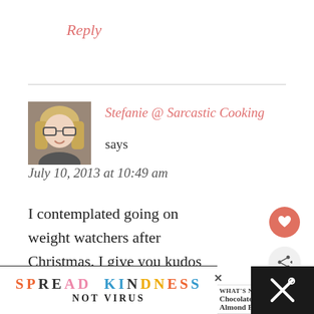Reply
Stefanie @ Sarcastic Cooking says
July 10, 2013 at 10:49 am
I contemplated going on weight watchers after Christmas. I give you kudos girl! I couldn't do it! You right, too many temptations!!! I am
[Figure (photo): Avatar photo of a blonde woman with glasses]
SPREAD KINDNESS NOT VIRUS